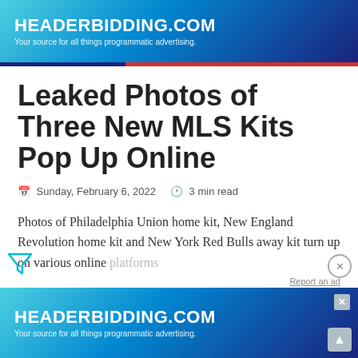[Figure (screenshot): HEADERBIDDING.COM advertisement banner at top — blue/teal gradient background with white bold text 'HEADERBIDDING.COM' and subtitle 'Your source for all things programmatic advertising.']
Leaked Photos of Three New MLS Kits Pop Up Online
Sunday, February 6, 2022  3 min read
Photos of Philadelphia Union home kit, New England Revolution home kit and New York Red Bulls away kit turn up on various online platforms
[Figure (screenshot): HEADERBIDDING.COM advertisement banner at bottom — blue/teal gradient background with white bold text 'HEADERBIDDING.COM' and subtitle 'Your source for all things programmatic advertising.']